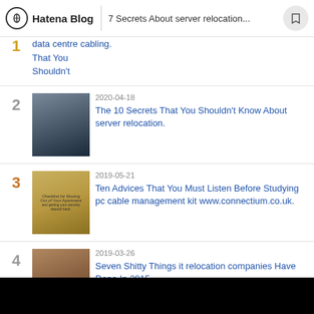Hatena Blog | 7 Secrets About server relocation...
That You Shouldn't ... data centre cabling.
2020-04-18 The 10 Secrets That You Shouldn't Know About server relocation.
2019-05-21 Ten Advices That You Must Listen Before Studying pc cable management kit www.connectium.co.uk.
2019-03-26 Seven Shitty Things it relocation companies Have Done In 2015.
2020-02-21 10 Reasons The Quality Of server relocation Is So